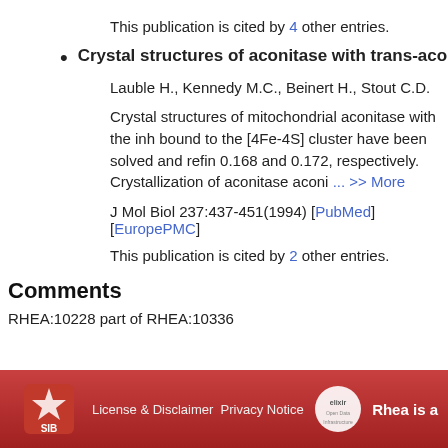This publication is cited by 4 other entries.
Crystal structures of aconitase with trans-aco...
Lauble H., Kennedy M.C., Beinert H., Stout C.D.
Crystal structures of mitochondrial aconitase with the inh bound to the [4Fe-4S] cluster have been solved and refin 0.168 and 0.172, respectively. Crystallization of aconitase aconi ... >> More
J Mol Biol 237:437-451(1994) [PubMed] [EuropePMC]
This publication is cited by 2 other entries.
Comments
RHEA:10228 part of RHEA:10336
License & Disclaimer Privacy Notice  Rhea is a